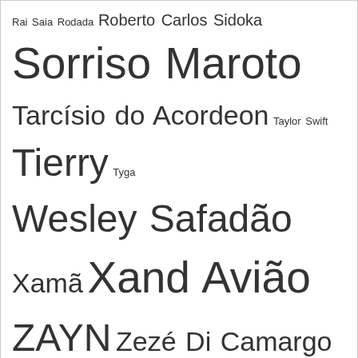Rai Saia Rodada Roberto Carlos Sidoka Sorriso Maroto Tarcísio do Acordeon Taylor Swift Tierry Tyga Wesley Safadão Xamã Xand Avião ZAYN Zezé Di Camargo e Luciano Zé Vaqueiro
[Figure (other): Advertisement / empty white box]
Top Lançamentos
Você Vai Ver – Maiara e Maraisa
Quero dar certo na cachorrada – DJ Guuga
Não Usa Ele Não – Gustavo Mioto
Jasmim – Hungria Hip Hop